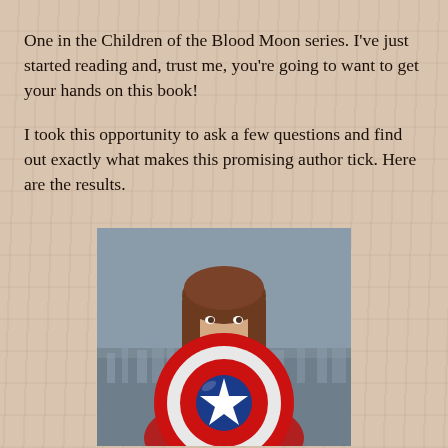One in the Children of the Blood Moon series. I've just started reading and, trust me, you're going to want to get your hands on this book!
I took this opportunity to ask a few questions and find out exactly what makes this promising author tick. Here are the results.
[Figure (photo): A young woman with long brown hair smiling, holding a large Captain America shield in front of her. She is wearing a red jacket. The background appears to be a display or backdrop with a cityscape.]